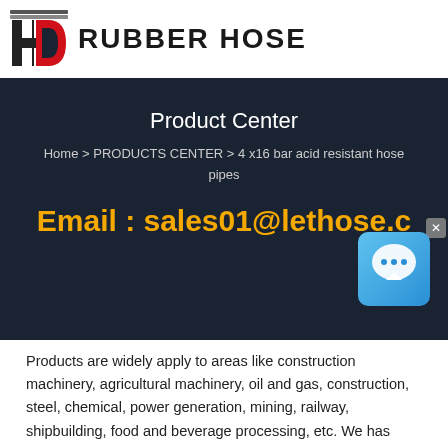HD RUBBER HOSE
Product Center
Home > PRODUCTS CENTER > 4 x16 bar acid resistant hose pipes
Email : sales01@lethose.c…
[Figure (illustration): Chat bubble app icon with blue gradient background and white speech bubble icon, with an X close button in the top right corner]
Products are widely apply to areas like construction machinery, agricultural machinery, oil and gas, construction, steel, chemical, power generation, mining, railway, shipbuilding, food and beverage processing, etc. We has obtained the Safety Certificate of Approval for Mining